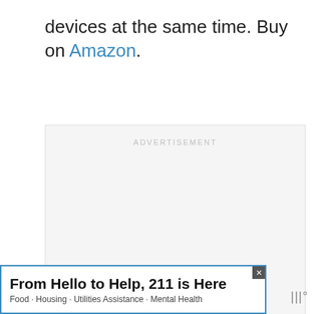devices at the same time. Buy on Amazon.
[Figure (other): Advertisement placeholder box with light gray background and 'ADVERTISEMENT' label at top center]
[Figure (other): Floating action button with heart icon (gold/orange circle)]
[Figure (other): Floating action button with share icon (white circle with shadow)]
[Figure (other): Bottom banner advertisement: 'From Hello to Help, 211 is Here' with subtitle 'Food · Housing · Utilities Assistance · Mental Health' with blue border and close X button]
[Figure (other): Weather widget showing 'III°' symbol in gray at bottom right]